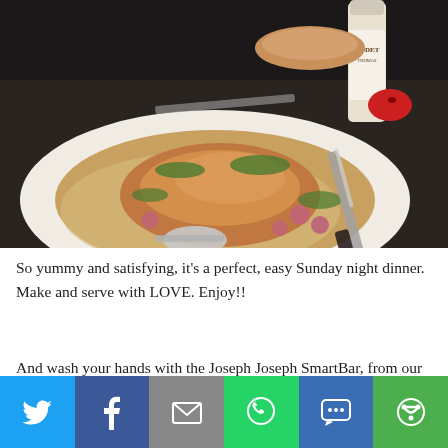[Figure (photo): A roasted or braised chicken/turkey dish on a white plate with vegetables, herbs, and gravy. A wine bottle (Rodet brand), bread, utensils, and a small red bird figurine are visible in the background on a dark surface.]
So yummy and satisfying, it's a perfect, easy Sunday night dinner. Make and serve with LOVE. Enjoy!!
And wash your hands with the Joseph Joseph SmartBar, from our spring MARY's secret
[Figure (infographic): Social sharing bar with six buttons: Twitter (blue), Facebook (dark blue), Email (grey), WhatsApp (green), SMS (blue), More (green)]